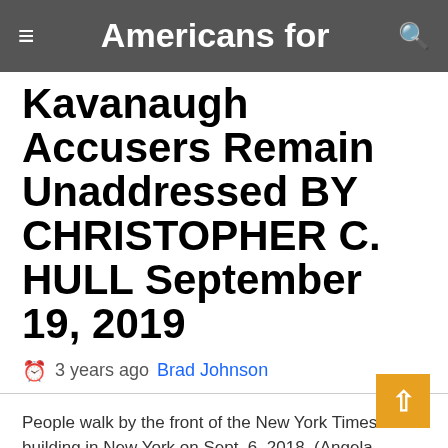Americans for
Kavanaugh Accusers Remain Unaddressed BY CHRISTOPHER C. HULL September 19, 2019
3 years ago  Brad Johnson
People walk by the front of the New York Times building in New York on Sept. 6, 2018. (Angela Weiss/AFP/Getty Images)
WASHINGTON–Since being nominated for the Supreme Court, Justice Brett Kavanaugh has been